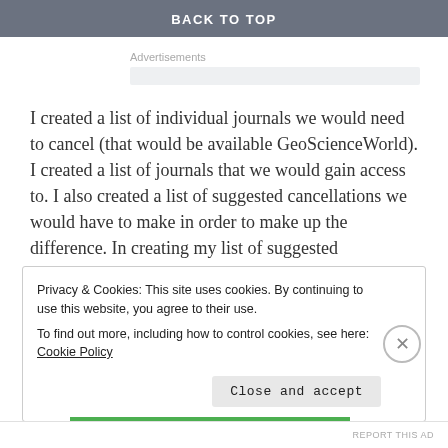BACK TO TOP
Advertisements
I created a list of individual journals we would need to cancel (that would be available GeoScienceWorld).  I created a list of journals that we would gain access to.  I also created a list of suggested cancellations we would have to make in order to make up the difference.  In creating my list of suggested cancellations, I worked hard to minimize the loss of content.
Privacy & Cookies: This site uses cookies. By continuing to use this website, you agree to their use.
To find out more, including how to control cookies, see here: Cookie Policy
Close and accept